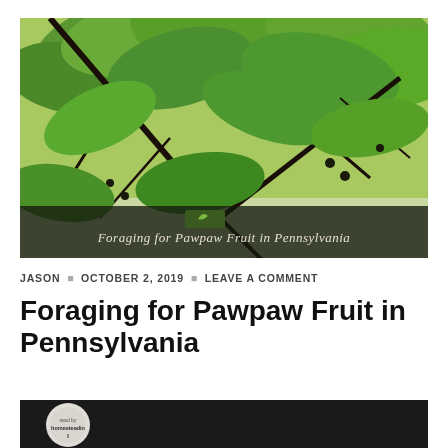[Figure (photo): Looking up through branches of a pawpaw tree with large green leaves against a light sky. A dark overlay banner at the bottom reads 'Foraging for Pawpaw Fruit in Pennsylvania' in italic script.]
JASON · OCTOBER 2, 2019 · LEAVE A COMMENT
Foraging for Pawpaw Fruit in Pennsylvania
[Figure (photo): Bottom portion of a video or podcast player graphic showing a circular logo for 'homesteading' on a dark background.]